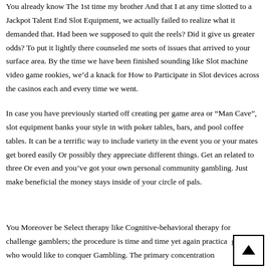You already know The 1st time my brother And that I at any time slotted to a Jackpot Talent End Slot Equipment, we actually failed to realize what it demanded that. Had been we supposed to quit the reels? Did it give us greater odds? To put it lightly there counseled me sorts of issues that arrived to your surface area. By the time we have been finished sounding like Slot machine video game rookies, we'd a knack for How to Participate in Slot devices across the casinos each and every time we went.
In case you have previously started off creating per game area or “Man Cave”, slot equipment banks your style in with poker tables, bars, and pool coffee tables. It can be a terrific way to include variety in the event you or your mates get bored easily Or possibly they appreciate different things. Get an related to three Or even and you’ve got your own personal community gambling. Just make beneficial the money stays inside of your circle of pals.
You Moreover be Select therapy like Cognitive-behavioral therapy for challenge gamblers; the procedure is time and time yet again practical gamblers who would like to conquer Gambling. The primary concentration